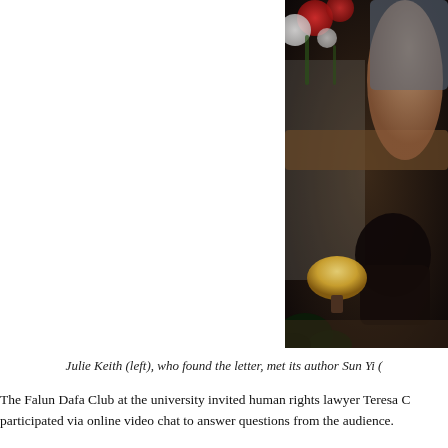[Figure (photo): A photograph showing two people in a dimly lit room setting. One person is sitting on a couch/sofa visible from the side, with flowers in the background. A lamp is visible in the lower portion of the image. Dark foliage is in the lower left corner.]
Julie Keith (left), who found the letter, met its author Sun Yi (
The Falun Dafa Club at the university invited human rights lawyer Teresa C... participated via online video chat to answer questions from the audience.